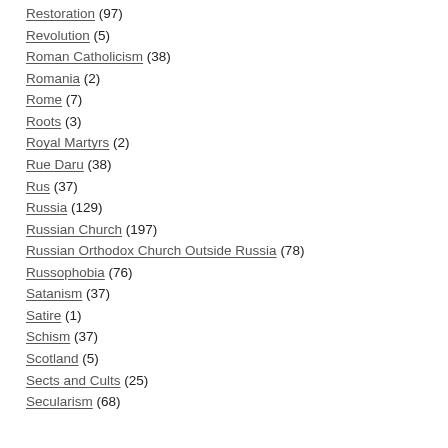Restoration (97)
Revolution (5)
Roman Catholicism (38)
Romania (2)
Rome (7)
Roots (3)
Royal Martyrs (2)
Rue Daru (38)
Rus (37)
Russia (129)
Russian Church (197)
Russian Orthodox Church Outside Russia (78)
Russophobia (76)
Satanism (37)
Satire (1)
Schism (37)
Scotland (5)
Sects and Cults (25)
Secularism (68)